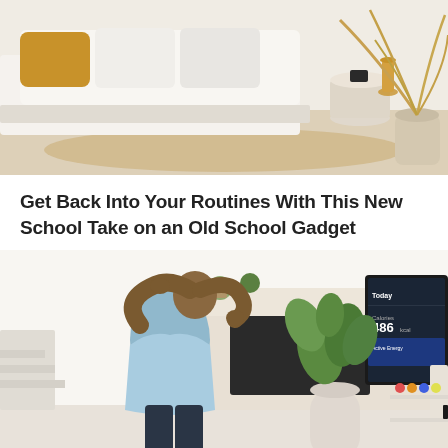[Figure (photo): Bedroom scene with white bed, tan/mustard throw pillow, small black alarm clock on a white cylindrical side table, gold vase, and dried palm plant in a large pot on a woven rug — neutral boho aesthetic]
Get Back Into Your Routines With This New School Take on an Old School Gadget
[Figure (photo): Man in light blue tank top stretching his arms behind his head in a modern living room with a wall-mounted TV showing a fitness app (486 calories), large green fiddle-leaf fig plant, built-in fireplace, and shelves with colorful items]